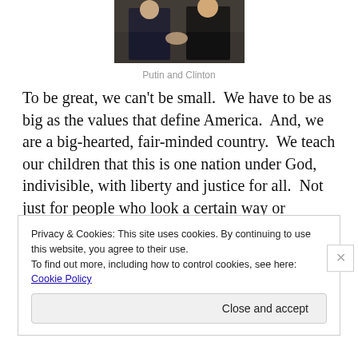[Figure (photo): Photo of Putin and Clinton shaking hands in a formal setting]
Putin and Clinton
To be great, we can't be small.  We have to be as big as the values that define America.  And, we are a big-hearted, fair-minded country.  We teach our children that this is one nation under God, indivisible, with liberty and justice for all.  Not just for people who look a certain way or worship a certain way or love a certain way.  For all ~ indivisible.
 This election is not, however, about the same old fights
Privacy & Cookies: This site uses cookies. By continuing to use this website, you agree to their use.
To find out more, including how to control cookies, see here: Cookie Policy